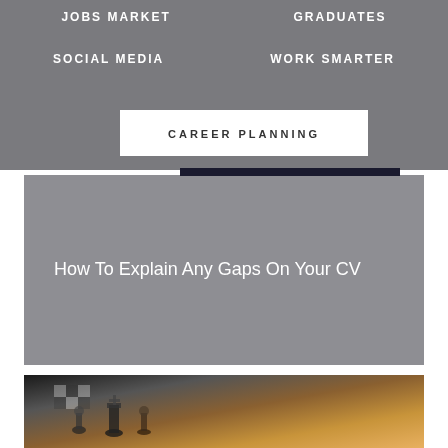JOBS MARKET   GRADUATES
SOCIAL MEDIA   WORK SMARTER
CAREER PLANNING
How To Explain Any Gaps On Your CV
[Figure (photo): Chess pieces on a chess board, blurred background with warm orange tones]